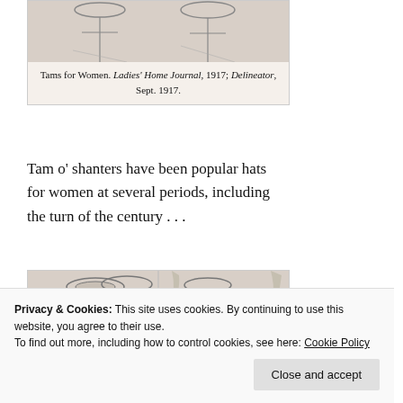[Figure (illustration): Vintage fashion illustration showing women wearing tam o' shanter hats, cropped at top of page]
Tams for Women. Ladies' Home Journal, 1917; Delineator, Sept. 1917.
Tam o' shanters have been popular hats for women at several periods, including the turn of the century . . .
[Figure (illustration): Vintage fashion illustration showing women in early 1900s clothing with wide-brimmed hats, one near a bicycle]
Privacy & Cookies: This site uses cookies. By continuing to use this website, you agree to their use.
To find out more, including how to control cookies, see here: Cookie Policy